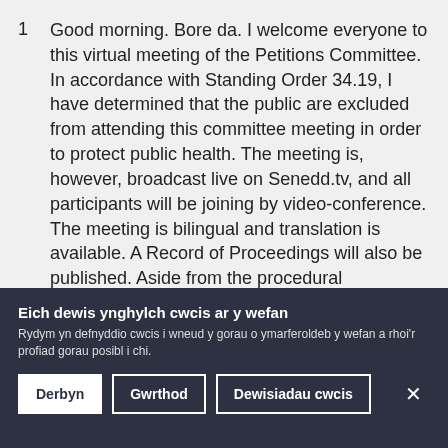Good morning. Bore da. I welcome everyone to this virtual meeting of the Petitions Committee. In accordance with Standing Order 34.19, I have determined that the public are excluded from attending this committee meeting in order to protect public health. The meeting is, however, broadcast live on Senedd.tv, and all participants will be joining by video-conference. The meeting is bilingual and translation is available. A Record of Proceedings will also be published. Aside from the procedural adaptations relating to conducting business remotely, all other Standing Order requirements remain in place. I haven't received
Eich dewis ynghylch cwcis ar y wefan
Rydym yn defnyddio cwcis i wneud y gorau o ymarferoldeb y wefan a rhoi'r profiad gorau posibl i chi.
Derbyn | Gwrthod | Dewisiadau cwcis | ×